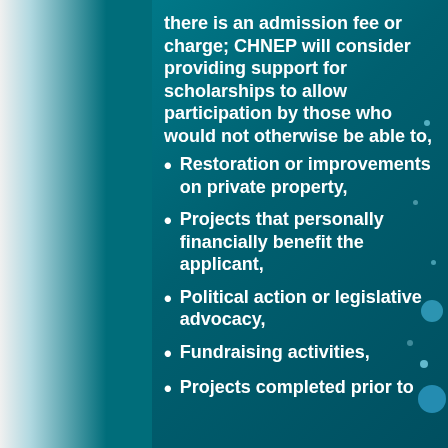there is an admission fee or charge; CHNEP will consider providing support for scholarships to allow participation by those who would not otherwise be able to,
Restoration or improvements on private property,
Projects that personally financially benefit the applicant,
Political action or legislative advocacy,
Fundraising activities,
Projects completed prior to